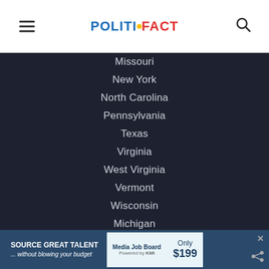POLITIFACT
Missouri
New York
North Carolina
Pennsylvania
Texas
Virginia
West Virginia
Vermont
Wisconsin
Michigan
ABOUT US
Our Process
Our Staff
SOURCE GREAT TALENT ... without blowing your budget | Media Job Board | Only $199